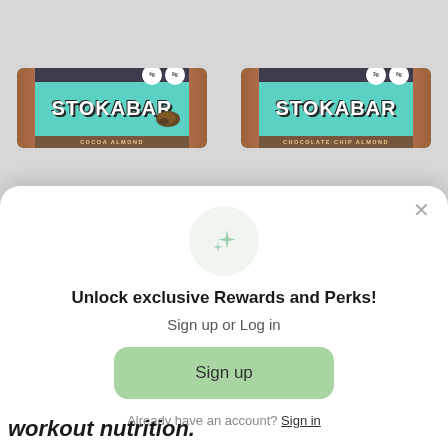[Figure (photo): Four Stoka Bar product packages in a 2x2 grid on a gray background. Top-left: Cocoa Almond (teal/mint wrapper, 4g & 9g badges). Top-right: Chocolate Chip Almond (teal wrapper, 3g & 6g badges). Bottom-left: teal bar with 4g & 9g badges. Bottom-right: teal bar with 6g & 5g badges.]
Unlock exclusive Rewards and Perks!
Sign up or Log in
Sign up
Already have an account? Sign in
workout nutrition.